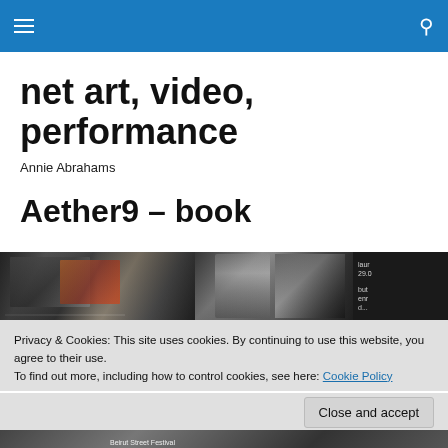Navigation bar with menu and search icons
net art, video, performance
Annie Abrahams
Aether9 – book
[Figure (photo): Photo strip showing collage of images including books, passport-like objects, and a person's face in dark tones, with partial text on the right side]
Privacy & Cookies: This site uses cookies. By continuing to use this website, you agree to their use.
To find out more, including how to control cookies, see here: Cookie Policy
Close and accept
[Figure (photo): Bottom photo strip showing partial image, with text 'Beirut Street Festival' partially visible]